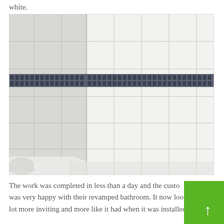white.
[Figure (photo): Bathroom wall tiled in large white tiles with a horizontal mosaic border of small dark blue/grey tiles running across the middle of the wall. The corner of a bathtub is visible in the lower left. The walls meet at a corner and the tiles are clean and bright white.]
The work was completed in less than a day and the custo was very happy with their revamped bathroom. It now loo lot more inviting and more like it had when it was installed. I also